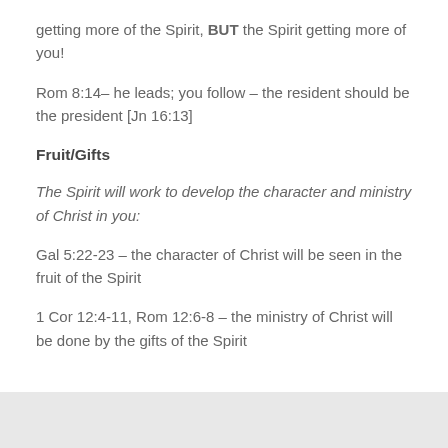getting more of the Spirit, BUT the Spirit getting more of you!
Rom 8:14– he leads; you follow – the resident should be the president [Jn 16:13]
Fruit/Gifts
The Spirit will work to develop the character and ministry of Christ in you:
Gal 5:22-23 – the character of Christ will be seen in the fruit of the Spirit
1 Cor 12:4-11, Rom 12:6-8 – the ministry of Christ will be done by the gifts of the Spirit
discipleship, fruit of the spirit, Holy Spirit, regeneration, Spirit Baptism, spiritual circumcision